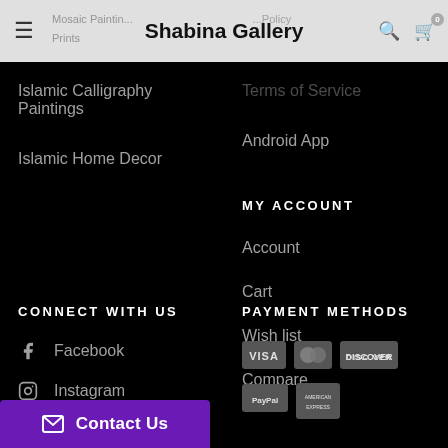Shabina Gallery
Islamic Calligraphy Paintings
Islamic Home Decor
Terms of Service
Android App
MY ACCOUNT
Account
Cart
Wish list
Compare
CONNECT WITH US
Facebook
Instagram
PAYMENT METHODS
[Figure (logo): Payment method logos: VISA, Mastercard, Discover, PayPal, American Express]
Contact Us